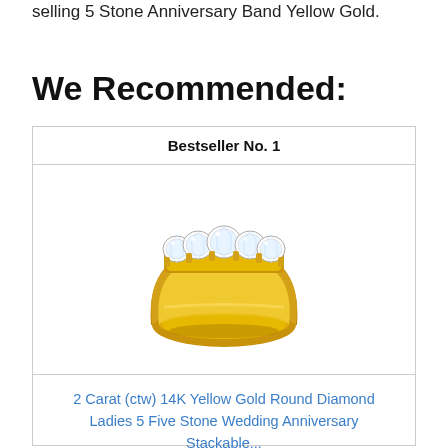selling 5 Stone Anniversary Band Yellow Gold.
We Recommended:
Bestseller No. 1
[Figure (photo): A 5-stone diamond anniversary band ring in 14K yellow gold with round brilliant-cut diamonds set across the top.]
2 Carat (ctw) 14K Yellow Gold Round Diamond Ladies 5 Five Stone Wedding Anniversary Stackable...